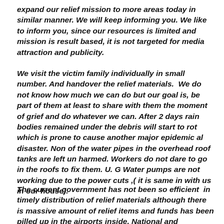expand our relief mission to more areas today in similar manner. We will keep informing you. We like to inform you, since our resources is limited and mission is result based, it is not targeted for media attraction and publicity.
We visit the victim family individually in small number. And handover the relief materials.  We do not know how much we can do but our goal is, be part of them at least to share with them the moment of grief and do whatever we can. After 2 days rain bodies remained under the debris will start to rot which is prone to cause another major epidemic al disaster. Non of the water pipes in the overhead roof tanks are left un harmed. Workers do not dare to go in the roofs to fix them. U. G Water pumps are not working due to the power cuts ,( it is same in with us in our house).
The current government has not been so efficient  in timely distribution of relief materials although there is massive amount of relief items and funds has been pilled up in the airports inside. National and international organizations